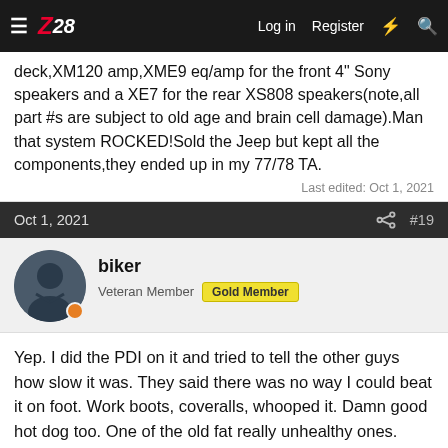Z28 — Log in  Register
deck,XM120 amp,XME9 eq/amp for the front 4" Sony speakers and a XE7 for the rear XS808 speakers(note,all part #s are subject to old age and brain cell damage).Man that system ROCKED!Sold the Jeep but kept all the components,they ended up in my 77/78 TA.
Last edited: Oct 1, 2021
Oct 1, 2021  #19
biker
Veteran Member  Gold Member
Yep. I did the PDI on it and tried to tell the other guys how slow it was. They said there was no way I could beat it on foot. Work boots, coveralls, whooped it. Damn good hot dog too. One of the old fat really unhealthy ones.